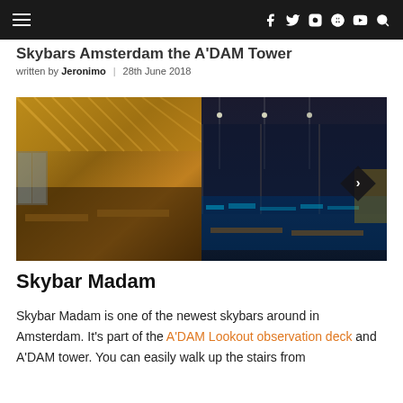Navigation bar with hamburger menu and social icons: f, twitter, instagram, pinterest, youtube, search
Skybars Amsterdam the A'DAM Tower
written by Jeronimo | 28th June 2018
[Figure (photo): Two photos side by side: left shows interior of a restaurant/bar with warm golden lighting and decorative ceiling; right shows a night view of restaurant tables with city lights visible through large windows]
Skybar Madam
Skybar Madam is one of the newest skybars around in Amsterdam. It's part of the A'DAM Lookout observation deck and A'DAM tower. You can easily walk up the stairs from